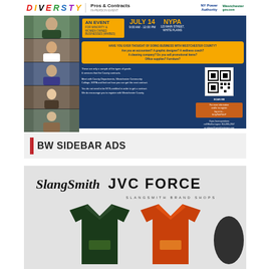[Figure (infographic): Diversity Pros & Contracts in-person event flyer for Minority & Women Owned Businesses (MWBEs), hosted by NY Power Authority and Westchester County. Event on July 14, 9:00 AM - 12:00 PM, at NYPA, 123 Main Street, White Plains. Includes QR code for registration and contact information.]
BW SIDEBAR ADS
[Figure (photo): JVC FORCE by Slangsmith Brand Shops advertisement showing logo with signature and folded green and orange t-shirts.]